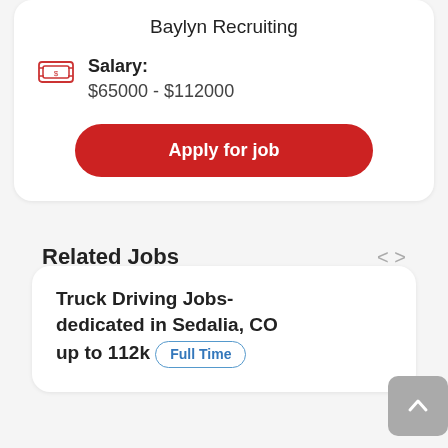Baylyn Recruiting
Salary: $65000 - $112000
Apply for job
Related Jobs
Truck Driving Jobs- dedicated in Sedalia, CO up to 112k  Full Time